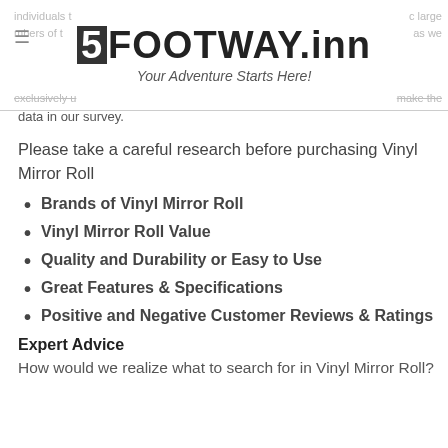5FOOTWAY.inn — Your Adventure Starts Here!
individuals t... c large mbers of t... as we exclusively u... make the data in our survey.
Please take a careful research before purchasing Vinyl Mirror Roll
Brands of Vinyl Mirror Roll
Vinyl Mirror Roll Value
Quality and Durability or Easy to Use
Great Features & Specifications
Positive and Negative Customer Reviews & Ratings
Expert Advice
How would we realize what to search for in Vinyl Mirror Roll?